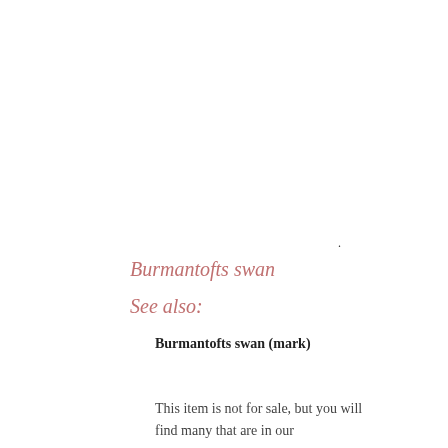Burmantofts swan
See also:
Burmantofts swan (mark)
This item is not for sale, but you will find many that are in our